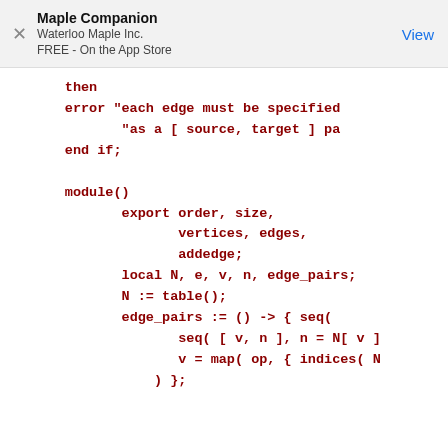Maple Companion
Waterloo Maple Inc.
FREE - On the App Store
View
then
    error "each edge must be specified
           "as a [ source, target ] pa
    end if;

    module()
           export order, size,
                  vertices, edges,
                  addedge;
           local N, e, v, n, edge_pairs;
           N := table();
           edge_pairs := () -> { seq(
                  seq( [ v, n ], n = N[ v ]
                  v = map( op, { indices( N
               ) };